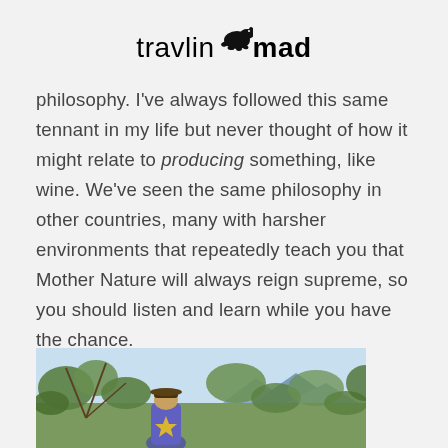travlinmad
philosophy. I've always followed this same tennant in my life but never thought of how it might relate to producing something, like wine. We've seen the same philosophy in other countries, many with harsher environments that repeatedly teach you that Mother Nature will always reign supreme, so you should listen and learn while you have the chance.
[Figure (photo): Person wearing a purple shirt and hat among green olive tree branches with mountains and blue sky in the background]